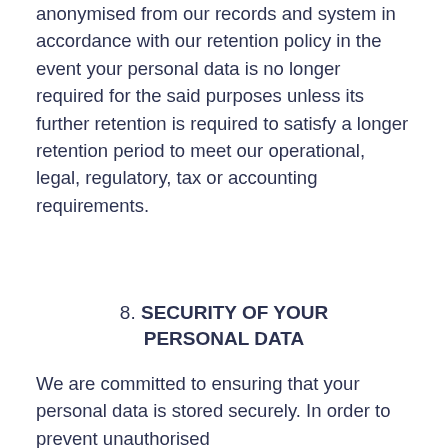anonymised from our records and system in accordance with our retention policy in the event your personal data is no longer required for the said purposes unless its further retention is required to satisfy a longer retention period to meet our operational, legal, regulatory, tax or accounting requirements.
8. SECURITY OF YOUR PERSONAL DATA
We are committed to ensuring that your personal data is stored securely. In order to prevent unauthorised